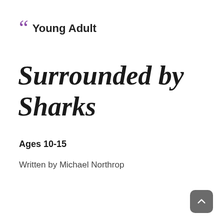" Young Adult
Surrounded by Sharks
Ages 10-15
Written by Michael Northrop